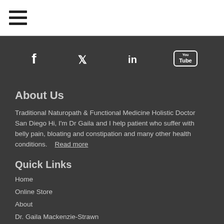[Figure (other): Hamburger menu icon (three horizontal bars)]
[Figure (other): Social media icons bar: Facebook (f), Twitter (bird), LinkedIn (in), YouTube]
About Us
Traditional Naturopath & Functional Medicine Holistic Doctor San Diego Hi, I'm Dr Gaila and I help patient who suffer with belly pain, bloating and constipation and many other health conditions.
Read more
Quick Links
Home
Online Store
About
Dr. Gaila Mackenzie-Strawn